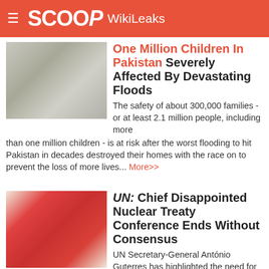SCOOP WikiLeaks
One Million Children In Pakistan Severely Affected By Devastating Floods
The safety of about 300,000 families - or at least 2.1 million people, including more than one million children - is at risk after the worst flooding to hit Pakistan in decades destroyed their homes with the race on to prevent the loss of more lives... More>>
UN: Chief Disappointed Nuclear Treaty Conference Ends Without Consensus
UN Secretary-General António Guterres has highlighted the need for dialogue to reduce the nuclear threat after countries failed to reach consensus at a conference to review the landmark Non-Proliferation Treaty (NPT), his Spokesperson said on Saturday... More>>